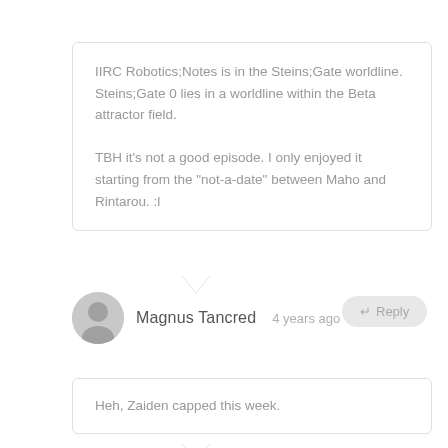IIRC Robotics;Notes is in the Steins;Gate worldline. Steins;Gate 0 lies in a worldline within the Beta attractor field.

TBH it's not a good episode. I only enjoyed it starting from the "not-a-date" between Maho and Rintarou. :l
Magnus Tancred  4 years ago
Heh, Zaiden capped this week.
Guardian Enzo  4 years ago